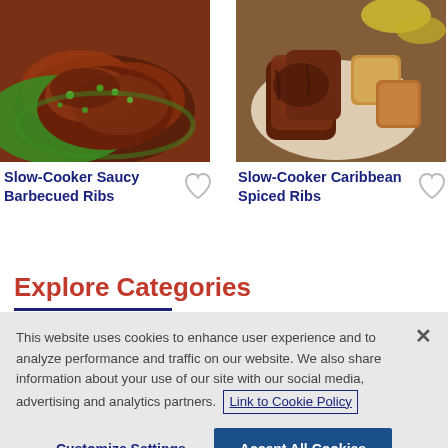[Figure (photo): Photo of Slow-Cooker Saucy Barbecued Ribs in a green bowl with sauce and green onion garnish]
Slow-Cooker Saucy Barbecued Ribs
[Figure (photo): Photo of Slow-Cooker Caribbean Spiced Ribs on a white plate with cornbread and garnishes]
Slow-Cooker Caribbean Spiced Ribs
Explore Categories
This website uses cookies to enhance user experience and to analyze performance and traffic on our website. We also share information about your use of our site with our social media, advertising and analytics partners. Link to Cookie Policy
Customize Settings
Accept All Cookies